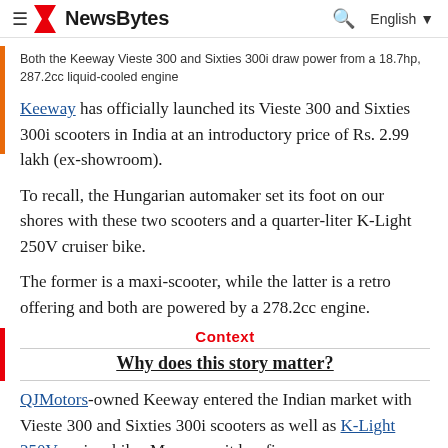NewsBytes  English
Both the Keeway Vieste 300 and Sixties 300i draw power from a 18.7hp, 287.2cc liquid-cooled engine
Keeway has officially launched its Vieste 300 and Sixties 300i scooters in India at an introductory price of Rs. 2.99 lakh (ex-showroom).
To recall, the Hungarian automaker set its foot on our shores with these two scooters and a quarter-liter K-Light 250V cruiser bike.
The former is a maxi-scooter, while the latter is a retro offering and both are powered by a 278.2cc engine.
Context
Why does this story matter?
QJMotors-owned Keeway entered the Indian market with Vieste 300 and Sixties 300i scooters as well as K-Light 250V cruiser bike. Moreover, it has five more